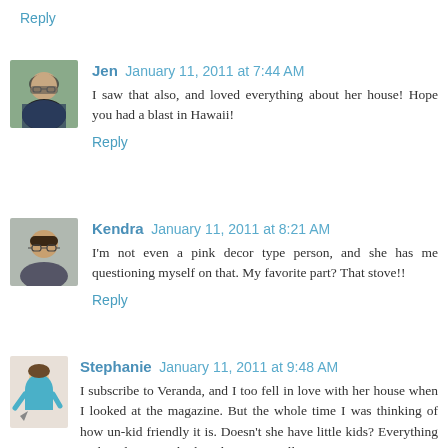Reply
Jen  January 11, 2011 at 7:44 AM
I saw that also, and loved everything about her house! Hope you had a blast in Hawaii!
Reply
Kendra  January 11, 2011 at 8:21 AM
I'm not even a pink decor type person, and she has me questioning myself on that. My favorite part? That stove!!
Reply
Stephanie  January 11, 2011 at 9:48 AM
I subscribe to Veranda, and I too fell in love with her house when I looked at the magazine. But the whole time I was thinking of how un-kid friendly it is. Doesn't she have little kids? Everything in that place is so high end, I mean really,